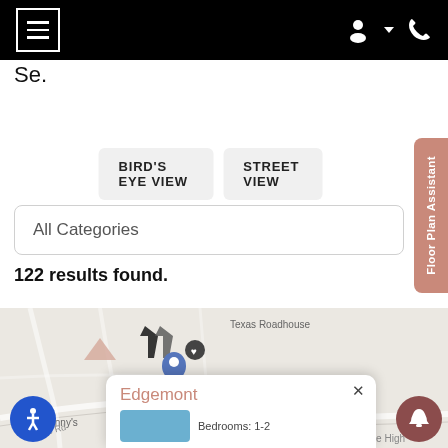Navigation bar with menu, user, and phone icons
Se.
BIRD'S EYE VIEW    STREET VIEW
Floor Plan Assistant
All Categories
122 results found.
[Figure (map): Interactive map showing location pins including Texas Roadhouse, Edgemont, Denny's, and other markers. Wade label and W Lee Rd road label visible.]
Edgemont
Bedrooms: 1-2